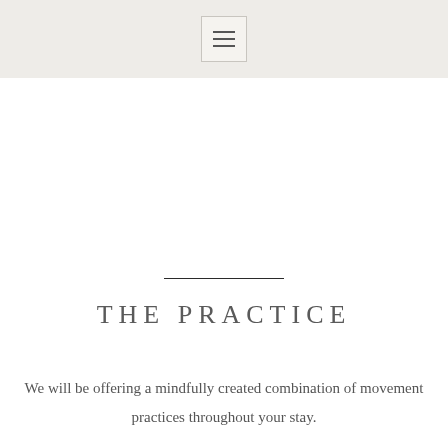[hamburger menu icon]
THE PRACTICE
We will be offering a mindfully created combination of movement practices throughout your stay.